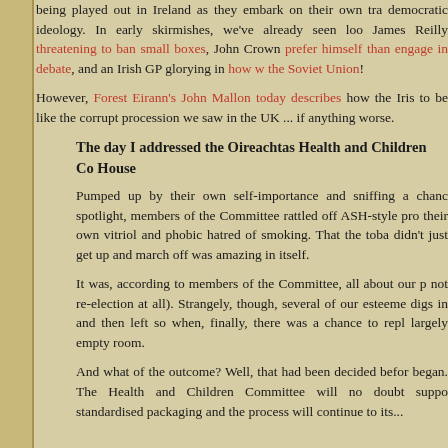being played out in Ireland as they embark on their own tra democratic ideology. In early skirmishes, we've already seen loo James Reilly threatening to ban small boxes, John Crown prefer himself than engage in debate, and an Irish GP glorying in how w the Soviet Union!
However, Forest Eirann's John Mallon today describes how the Iris to be like the corrupt procession we saw in the UK ... if anything worse.
The day I addressed the Oireachtas Health and Children Co House
Pumped up by their own self-importance and sniffing a chanc spotlight, members of the Committee rattled off ASH-style pro their own vitriol and phobic hatred of smoking. That the toba didn't just get up and march off was amazing in itself.
It was, according to members of the Committee, all about our p not re-election at all). Strangely, though, several of our esteeme digs in and then left so when, finally, there was a chance to repl largely empty room.
And what of the outcome? Well, that had been decided befor began. The Health and Children Committee will no doubt suppo standardised packaging and the process will continue to its...